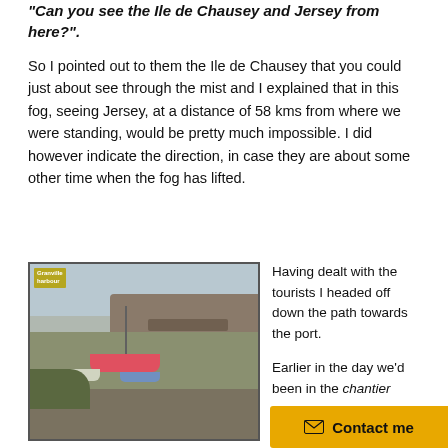“Can you see the Ile de Chausey and Jersey from here?”.
So I pointed out to them the Ile de Chausey that you could just about see through the mist and I explained that in this fog, seeing Jersey, at a distance of 58 kms from where we were standing, would be pretty much impossible. I did however indicate the direction, in case they are about some other time when the fog has lifted.
[Figure (photo): Harbor/port scene with boats on mud at low tide, masts, distant cliffs and buildings in the background under a hazy sky. Small overlay text in top-left corner.]
Having dealt with the tourists I headed off down the path towards the port.
Earlier in the day we’d been in the chantier
Contact me